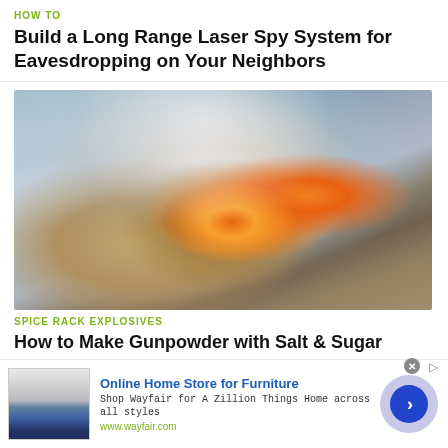HOW TO
Build a Long Range Laser Spy System for Eavesdropping on Your Neighbors
[Figure (photo): Explosion photo showing fire, sparks, smoke, and debris on a surface]
SPICE RACK EXPLOSIVES
How to Make Gunpowder with Salt & Sugar
Online Home Store for Furniture
Shop Wayfair for A Zillion Things Home across all styles
www.wayfair.com